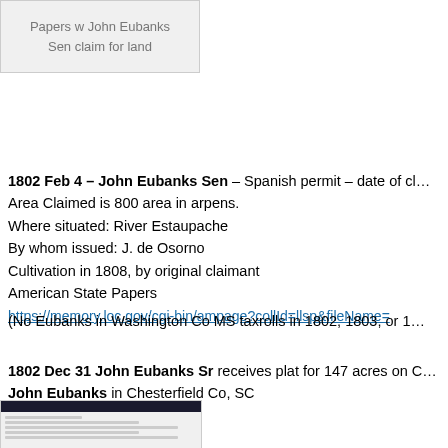[Figure (screenshot): Thumbnail image box with gray background showing text: Papers w John Eubanks Sen claim for land]
1802 Feb 4 – John Eubanks Sen – Spanish permit – date of cl… Area Claimed is 800 area in arpens. Where situated: River Estaupache By whom issued: J. de Osorno Cultivation in 1808, by original claimant American State Papers https://memory.loc.gov/cgi-bin/ampage?collId=llsp&fileName=…
(No Eubanks in Washington Co MS taxrolls in 1802, 1803, or 1…
1802 Dec 31 John Eubanks Sr receives plat for 147 acres on C… John Eubanks in Chesterfield Co, SC
[Figure (screenshot): Small screenshot thumbnail of a document or webpage]